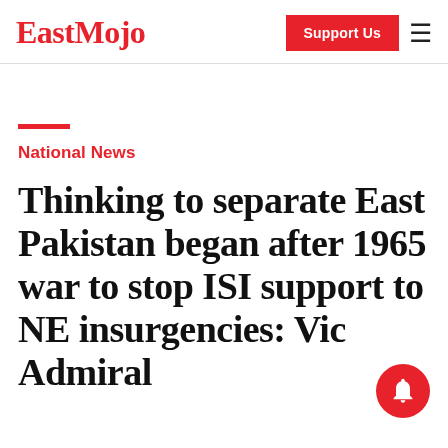EastMojo
National News
Thinking to separate East Pakistan began after 1965 war to stop ISI support to NE insurgencies: Vice Admiral